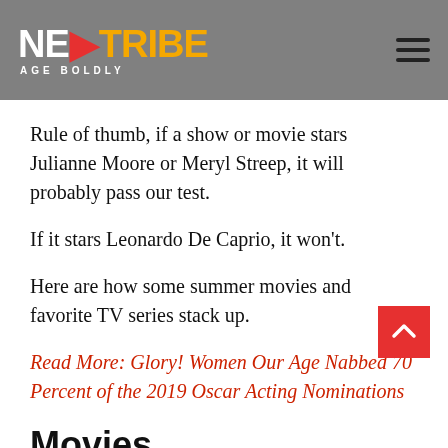NEXTTRIBE AGE BOLDLY
Rule of thumb, if a show or movie stars Julianne Moore or Meryl Streep, it will probably pass our test.
If it stars Leonardo De Caprio, it won't.
Here are how some summer movies and favorite TV series stack up.
Read More: Glory! Women Our Age Nabbed 70 Percent of the 2019 Oscar Acting Nominations
Movies